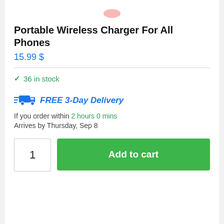[Figure (illustration): Small pink oval/dot centered at top of page]
Portable Wireless Charger For All Phones
15.99 $
✓ 36 in stock
[Figure (illustration): Blue truck/delivery icon with speed lines]
FREE 3-Day Delivery
If you order within 2 hours 0 mins
Arrives by Thursday, Sep 8
1
Add to cart